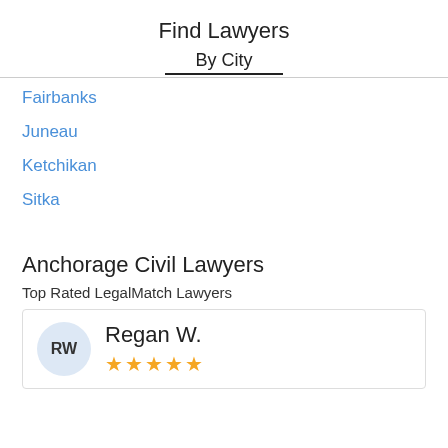Find Lawyers
By City
Fairbanks
Juneau
Ketchikan
Sitka
Anchorage Civil Lawyers
Top Rated LegalMatch Lawyers
RW  Regan W. ★★★★★